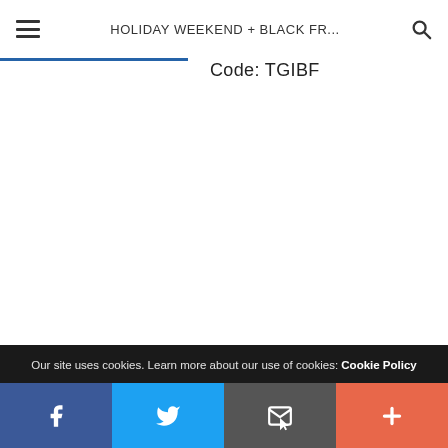HOLIDAY WEEKEND + BLACK FR...
Code: TGIBF
—
Our site uses cookies. Learn more about our use of cookies: Cookie Policy